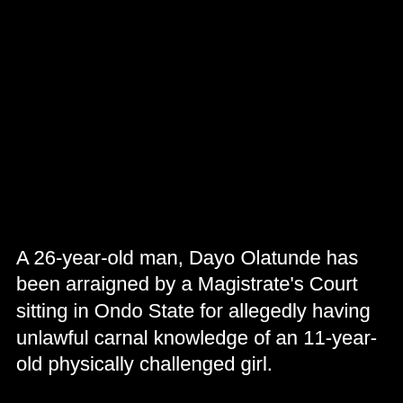A 26-year-old man, Dayo Olatunde has been arraigned by a Magistrate's Court sitting in Ondo State for allegedly having unlawful carnal knowledge of an 11-year-old physically challenged girl.